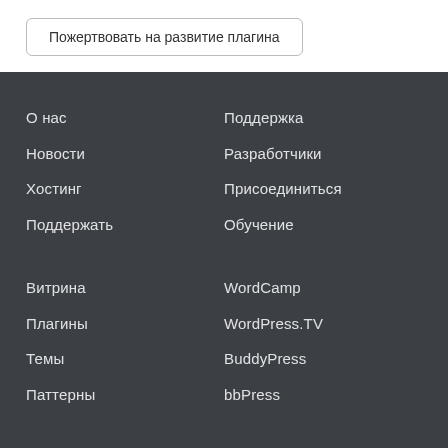Пожертвовать на развитие плагина
О нас
Новости
Хостинг
Поддержать
Поддержка
Разработчики
Присоединиться
Обучение
Витрина
Плагины
Темы
Паттерны
WordCamp
WordPress.TV
BuddyPress
bbPress